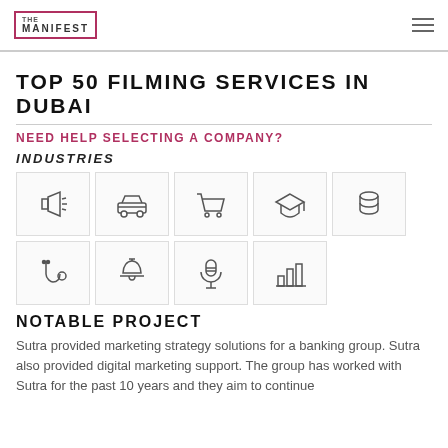THE MANIFEST
TOP 50 FILMING SERVICES IN DUBAI
NEED HELP SELECTING A COMPANY?
INDUSTRIES
[Figure (infographic): Industry icons grid: row 1: megaphone/advertising, car/automotive, shopping cart/ecommerce, graduation cap/education, coins/finance; row 2: stethoscope/healthcare, bell/hospitality, microphone/podcast, bar chart/business]
NOTABLE PROJECT
Sutra provided marketing strategy solutions for a banking group. Sutra also provided digital marketing support. The group has worked with Sutra for the past 10 years and they aim to continue